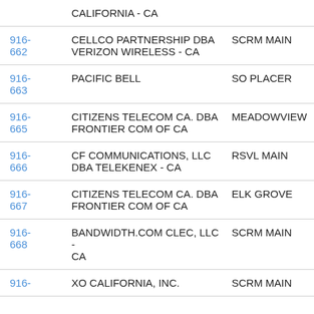| Code | Name | Location |
| --- | --- | --- |
|  | CALIFORNIA - CA |  |
| 916-662 | CELLCO PARTNERSHIP DBA VERIZON WIRELESS - CA | SCRM MAIN |
| 916-663 | PACIFIC BELL | SO PLACER |
| 916-665 | CITIZENS TELECOM CA. DBA FRONTIER COM OF CA | MEADOWVIEW |
| 916-666 | CF COMMUNICATIONS, LLC DBA TELEKENEX - CA | RSVL MAIN |
| 916-667 | CITIZENS TELECOM CA. DBA FRONTIER COM OF CA | ELK GROVE |
| 916-668 | BANDWIDTH.COM CLEC, LLC - CA | SCRM MAIN |
| 916- | XO CALIFORNIA, INC. | SCRM MAIN |